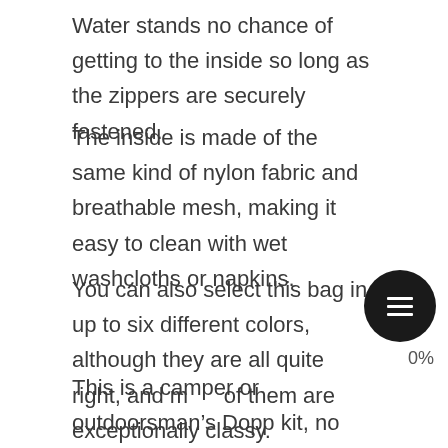Water stands no chance of getting to the inside so long as the zippers are securely fastened.
The inside is made of the same kind of nylon fabric and breathable mesh, making it easy to clean with wet washcloths or napkins.
You can also select this bag in up to six different colors, although they are all quite right, and most of them are exceptionally classy.
This is a camper or outdoorsman’s Dopp kit, no doubt about it.